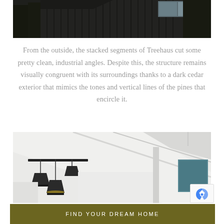[Figure (photo): Exterior view of Treehaus, a dark cedar-clad modern cabin with stacked angular segments and large windows, set against a forest background.]
From the outside, the stacked segments of Treehaus cut some pretty clean, industrial angles. Despite this, the structure remains visually congruent with its surroundings thanks to a dark cedar exterior that mimics the tones and vertical lines of the pines that encircle it.
[Figure (photo): Interior shot of Treehaus showing white vaulted ceiling with exposed beams, pendant lights hanging from a black rod, and a colorful artwork visible in the background.]
FIND YOUR DREAM HOME